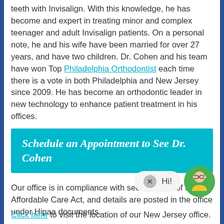teeth with Invisalign.  With this knowledge, he has become and expert in treating minor and complex teenager and adult Invisalign patients.  On a personal note, he and his wife have been married for over 27 years, and have two children. Dr. Cohen and his team have won Top Philadelphia Orthodontist each time there is a vote in both Philadelphia and New Jersey since 2009. He has become an orthodontic leader in new technology to enhance patient treatment in his offices.
Schedule an Appointment to See Dr. Cohen
Our office is in compliance with section 1577 of the Affordable Care Act, and details are posted in the office under Hipaa documents.
[Figure (illustration): Chat widget with close button, 'Hi!' speech bubble, and avatar of a person with glasses and yellow shirt]
Click here to visit the location of our New Jersey office.